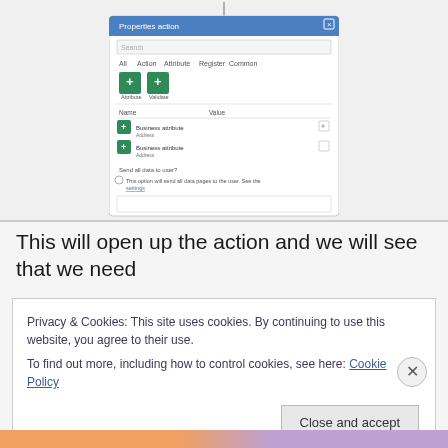[Figure (screenshot): A screenshot of a software dialog/interface showing a form with green plus buttons, search fields, and configuration options for actions or plugins.]
This will open up the action and we will see that we need
Privacy & Cookies: This site uses cookies. By continuing to use this website, you agree to their use.
To find out more, including how to control cookies, see here: Cookie Policy
Close and accept